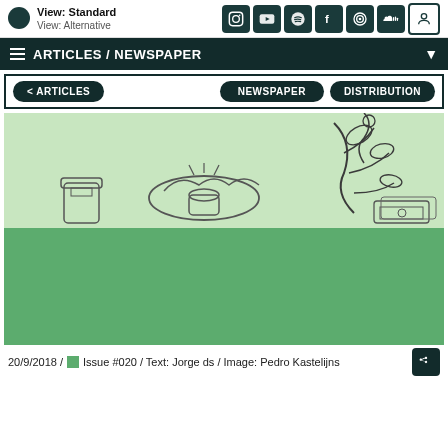View: Standard / View: Alternative
ARTICLES / NEWSPAPER
< ARTICLES   NEWSPAPER   DISTRIBUTION
[Figure (illustration): Illustration of hands working at a desk with plants and objects, rendered in green tones on a light green background with a solid green lower half]
20/9/2018 / Issue #020 / Text: Jorge ds / Image: Pedro Kastelijns